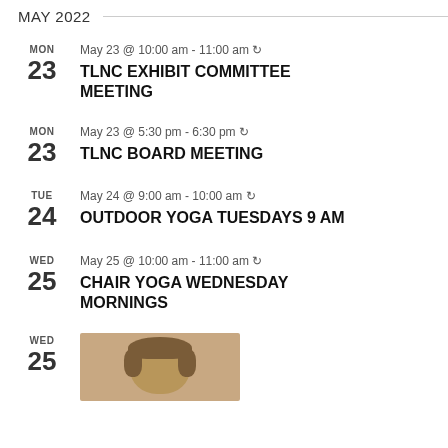MAY 2022
MON 23 | May 23 @ 10:00 am - 11:00 am ↺ | TLNC EXHIBIT COMMITTEE MEETING
MON 23 | May 23 @ 5:30 pm - 6:30 pm ↺ | TLNC BOARD MEETING
TUE 24 | May 24 @ 9:00 am - 10:00 am ↺ | OUTDOOR YOGA TUESDAYS 9 AM
WED 25 | May 25 @ 10:00 am - 11:00 am ↺ | CHAIR YOGA WEDNESDAY MORNINGS
[Figure (photo): Photo of back of person's head with brown hair, partial view, at bottom of page beside WED 25 date entry]